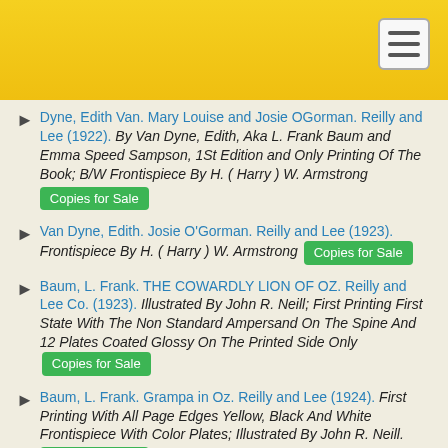Dyne, Edith Van. Mary Louise and Josie OGorman. Reilly and Lee (1922). By Van Dyne, Edith, Aka L. Frank Baum and Emma Speed Sampson, 1St Edition and Only Printing Of The Book; B/W Frontispiece By H. ( Harry ) W. Armstrong [Copies for Sale]
Van Dyne, Edith. Josie O'Gorman. Reilly and Lee (1923). Frontispiece By H. ( Harry ) W. Armstrong [Copies for Sale]
Baum, L. Frank. THE COWARDLY LION OF OZ. Reilly and Lee Co. (1923). Illustrated By John R. Neill; First Printing First State With The Non Standard Ampersand On The Spine And 12 Plates Coated Glossy On The Printed Side Only [Copies for Sale]
Baum, L. Frank. Grampa in Oz. Reilly and Lee (1924). First Printing With All Page Edges Yellow, Black And White Frontispiece With Color Plates; Illustrated By John R. Neill. [Copies for Sale]
Van Dyne, Edith. Josie OGorman and the Meddlesome...